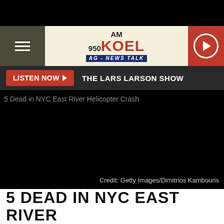AM 950 KOEL AG - NEWS TALK
LISTEN NOW ▶  THE LARS LARSON SHOW
[Figure (photo): 5 Dead in NYC East River Helicopter Crash — image failed to load, shown as black rectangle with alt text. Credit: Getty Images/Dimitrios Kambouris]
Credit: Getty Images/Dimitrios Kambouris
5 DEAD IN NYC EAST RIVER